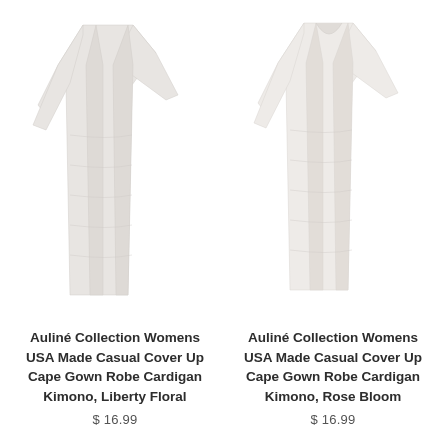[Figure (photo): Light gray silhouette illustration of a womens kimono/cardigan cape gown robe on white background, Liberty Floral variant]
Auliné Collection Womens USA Made Casual Cover Up Cape Gown Robe Cardigan Kimono, Liberty Floral
$ 16.99
[Figure (photo): Light gray silhouette illustration of a womens kimono/cardigan cape gown robe on white background, Rose Bloom variant]
Auliné Collection Womens USA Made Casual Cover Up Cape Gown Robe Cardigan Kimono, Rose Bloom
$ 16.99